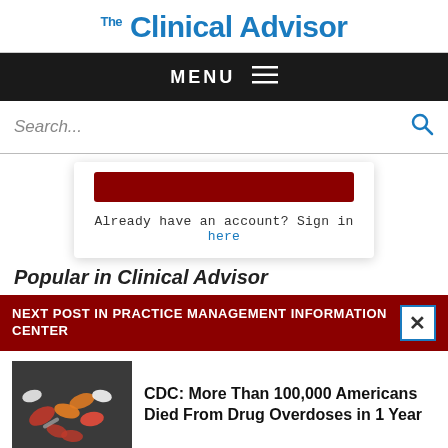Clinical Advisor
MENU
Search...
Already have an account? Sign in here
Popular in Clinical Advisor
NEXT POST IN PRACTICE MANAGEMENT INFORMATION CENTER
CDC: More Than 100,000 Americans Died From Drug Overdoses in 1 Year
[Figure (photo): Pills and medications on a dark surface]
[Figure (photo): Colorful microscopic virus/cell image on dark blue background]